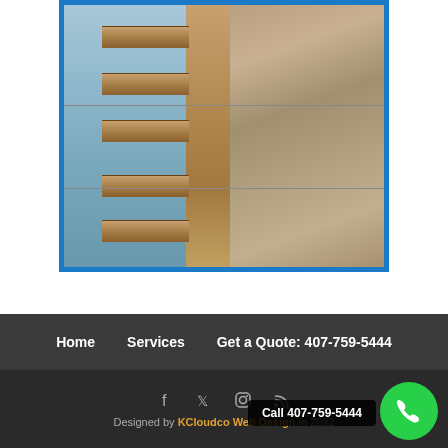[Figure (photo): Construction photo showing a wooden retaining wall or dock structure between a body of water on the left and sandy/dirt fill material on the right. Wooden cross beams extend horizontally into the water. Metal cables or rods run horizontally across the structure. Blue border frame around the photo.]
Home   Services   Get a Quote: 407-759-5444
Designed by KCloudco Web Design in 2022